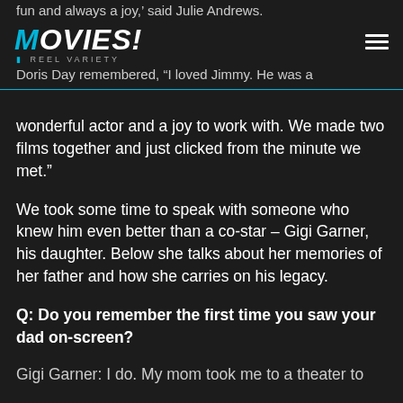fun and always a joy,' said Julie Andrews.
MOVIES! REEL VARIETY
Doris Day remembered, “I loved Jimmy. He was a wonderful actor and a joy to work with. We made two films together and just clicked from the minute we met.”
We took some time to speak with someone who knew him even better than a co-star – Gigi Garner, his daughter. Below she talks about her memories of her father and how she carries on his legacy.
Q: Do you remember the first time you saw your dad on-screen?
Gigi Garner: I do. My mom took me to a theater to